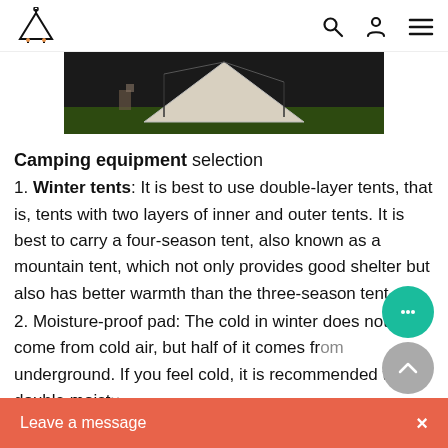Navigation bar with logo, search, account, and menu icons
[Figure (photo): Outdoor camping scene showing a canvas/canvas-white tent on grass with dark background]
Camping equipment selection
1. Winter tents: It is best to use double-layer tents, that is, tents with two layers of inner and outer tents. It is best to carry a four-season tent, also known as a mountain tent, which not only provides good shelter but also has better warmth than the three-season tent.
2. Moisture-proof pad: The cold in winter does not only come from cold air, but half of it comes from underground. If you feel cold, it is recommended to use double moist
Leave a message